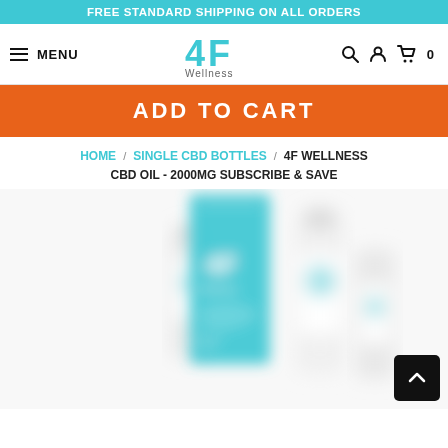FREE STANDARD SHIPPING ON ALL ORDERS
[Figure (screenshot): 4F Wellness website navigation bar with hamburger menu, MENU text, 4F Wellness logo in teal, search icon, user icon, and cart icon with 0 items]
ADD TO CART
HOME / SINGLE CBD BOTTLES / 4F WELLNESS CBD OIL - 2000MG SUBSCRIBE & SAVE
[Figure (photo): Blurred product photo showing 4F Wellness CBD Oil 2000mg bottles and packaging in teal and white colors with the 4F Wellness logo visible]